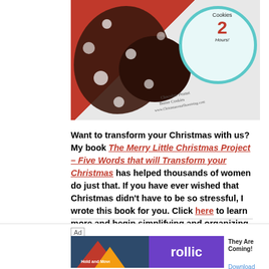[Figure (photo): Chocolate crinkle cookies on a red and white striped cloth, with a blue-rimmed plate showing text about Christmas cookies in 2 hours]
Want to transform your Christmas with us? My book The Merry Little Christmas Project – Five Words that will Transform your Christmas has helped thousands of women do just that. If you have ever wished that Christmas didn't have to be so stressful, I wrote this book for you. Click here to learn more and begin simplifying and organizing your Christmas with me!
[Figure (screenshot): Ad banner: Rollic game ad - They Are Coming! with Download link]